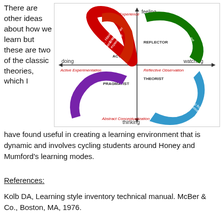There are other ideas about how we learn but these are two of the classic theories, which I have found useful in creating a learning environment that is dynamic and involves cycling students around Honey and Mumford's learning modes.
[Figure (other): Kolb/Honey and Mumford learning cycle diagram with four quadrants. Top: Concrete Experience (feeling axis). Right: Reflective Observation (watching). Bottom: Abstract Conceptualization (thinking). Left: Active Experimentation (doing). Four colored arrows cycling clockwise: 1. Having an experience (red, top-left, ACTIVIST), 2. Reviewing the experience (green, top-right, REFLECTOR), 3. Concluding from the experience (blue, bottom-right, THEORIST), 4. Planning the next steps (purple, bottom-left, PRAGMATIST).]
References:
Kolb DA, Learning style inventory technical manual. McBer & Co., Boston, MA, 1976.